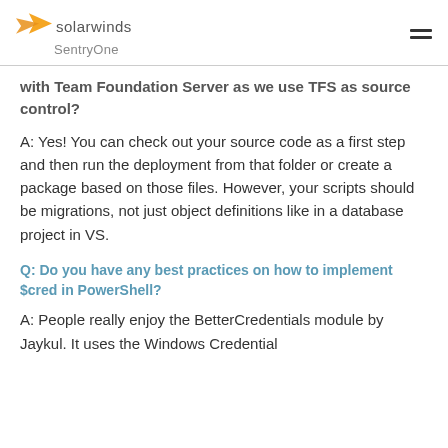solarwinds SentryOne
with Team Foundation Server as we use TFS as source control?
A: Yes! You can check out your source code as a first step and then run the deployment from that folder or create a package based on those files. However, your scripts should be migrations, not just object definitions like in a database project in VS.
Q: Do you have any best practices on how to implement $cred in PowerShell?
A: People really enjoy the BetterCredentials module by Jaykul. It uses the Windows Credential